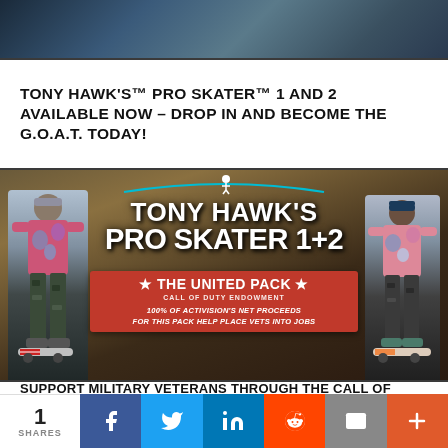[Figure (photo): Top portion of a skateboarding scene, partially visible]
TONY HAWK'S™ PRO SKATER™ 1 AND 2 AVAILABLE NOW – DROP IN AND BECOME THE G.O.A.T. TODAY!
[Figure (photo): Tony Hawk's Pro Skater 1+2 game advertisement featuring two skaters in tie-dye shirts holding skateboards, with 'The United Pack – Call of Duty Endowment' banner. Text reads: 100% OF ACTIVISION'S NET PROCEEDS FOR THIS PACK HELP PLACE VETS INTO JOBS]
SUPPORT MILITARY VETERANS THROUGH THE CALL OF DUTY
1 SHARES
Share buttons: Facebook, Twitter, LinkedIn, Reddit, Email, More